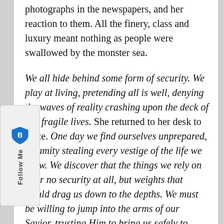photographs in the newspapers, and her reaction to them. All the finery, class and luxury meant nothing as people were swallowed by the monster sea.
We all hide behind some form of security. We play at living, pretending all is well, denying the waves of reality crashing upon the deck of our fragile lives. She returned to her desk to write. One day we find ourselves unprepared, calamity stealing every vestige of the life we knew. We discover that the things we rely on offer no security at all, but weights that would drag us down to the depths. We must be willing to jump into the arms of our Savior, trusting Him to bring us safely to shore. (p. 128)